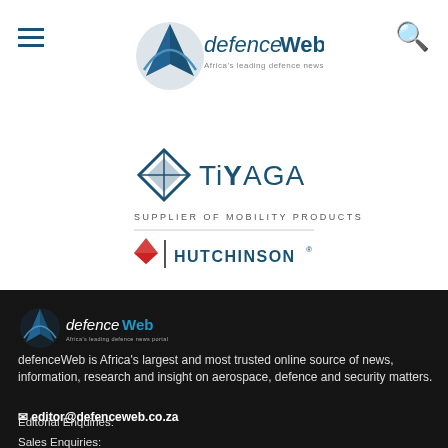[Figure (logo): defenceWeb logo - Africa's leading defence news portal, navigation bar with hamburger menu and search icon]
[Figure (logo): TiYAGA - Supplier of Mobility Products by Hutchinson advertisement logo]
[Figure (logo): defenceWeb footer logo]
defenceWeb is Africa's largest and most trusted online source of news, information, research and insight on aerospace, defence and security matters.
Editorial Enquiries:
editor@defenceweb.co.za
Sales Enquiries: